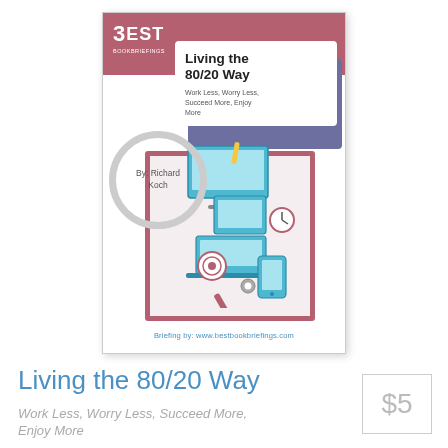[Figure (illustration): Book cover for 'Living the 80/20 Way' by Richard Koch, published by Best Book Briefings. Cover features a mauve/rose top banner with BEST BOOKBRIEFINGS logo, a white title box with purple backing, a grey circle with author name, a rose-bordered box with digital/productivity icons illustration, and a bottom white strip with website URL.]
Living the 80/20 Way
Work Less, Worry Less, Succeed More, Enjoy More